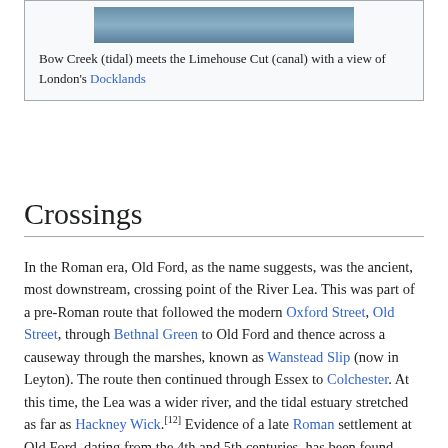[Figure (photo): Photo of Bow Creek (tidal) meeting the Limehouse Cut (canal) with a view of London's Docklands]
Bow Creek (tidal) meets the Limehouse Cut (canal) with a view of London's Docklands
Crossings
In the Roman era, Old Ford, as the name suggests, was the ancient, most downstream, crossing point of the River Lea. This was part of a pre-Roman route that followed the modern Oxford Street, Old Street, through Bethnal Green to Old Ford and thence across a causeway through the marshes, known as Wanstead Slip (now in Leyton). The route then continued through Essex to Colchester. At this time, the Lea was a wider river, and the tidal estuary stretched as far as Hackney Wick.[12] Evidence of a late Roman settlement at Old Ford, dating from the 4th and 5th centuries, has been found.
In 1110, Matilda, wife of Henry I reputedly took a tumble